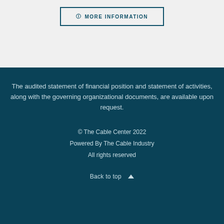ⓘ MORE INFORMATION
The audited statement of financial position and statement of activities, along with the governing organizational documents, are available upon request.
© The Cable Center 2022
Powered By The Cable Industry
All rights reserved
Back to top